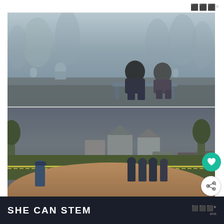⬛⬛⬛°
[Figure (photo): Two people sitting on a bench in a foggy cemetery, viewed from behind, with gravestones visible in the mist]
[Figure (photo): Baseball field scene with figures standing near yellow caution tape, houses visible in background]
Following the trail of clues by casting
SHE CAN STEM ⬛⬛⬛°